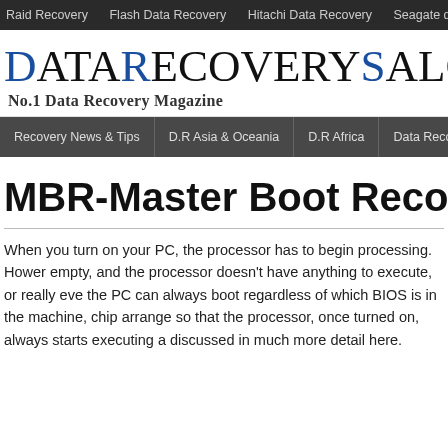Raid Recovery   Flash Data Recovery   Hitachi Data Recovery   Seagate data recovery   Sa
DataRecoverySalon No.1 Data Recovery Magazine
Recovery News & Tips   D.R Asia & Oceania   D.R Africa   Data Recovery America
MBR-Master Boot Record
When you turn on your PC, the processor has to begin processing. However, the RAM is empty, and the processor doesn't have anything to execute, or really even know where to start. To ensure the PC can always boot regardless of which BIOS is in the machine, chip makers and BIOS developers arrange so that the processor, once turned on, always starts executing at the same address. This is discussed in much more detail here.